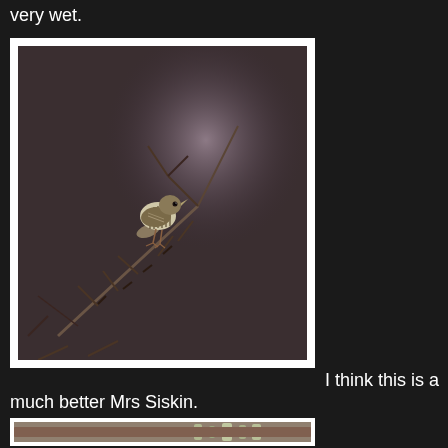very wet.
[Figure (photo): A small streaked bird (female Siskin) perched on a bare thorny branch, photographed against a blurred dark brownish-purple background with soft light bokeh]
I think this is a much better Mrs Siskin.
[Figure (photo): Partially visible photo of a lichen-covered branch against a blurred background, appears to be another bird photography shot]